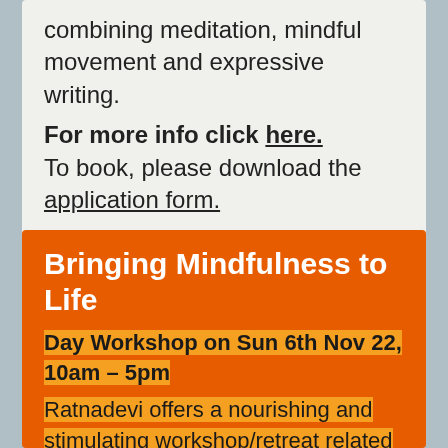combining meditation, mindful movement and expressive writing.
For more info click here. To book, please download the application form.
Bringing Mindfulness to Life
Day Workshop on Sun 6th Nov 22, 10am – 5pm
Ratnadevi offers a nourishing and stimulating workshop/retreat related to themes of her new book.
A flow of a range of